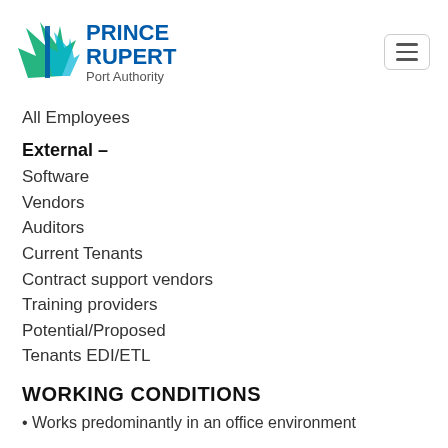[Figure (logo): Prince Rupert Port Authority logo with green maple leaf graphic and blue bold text]
All Employees
External –
Software
Vendors
Auditors
Current Tenants
Contract support vendors
Training providers
Potential/Proposed
Tenants EDI/ETL
WORKING CONDITIONS
• Works predominantly in an office environment